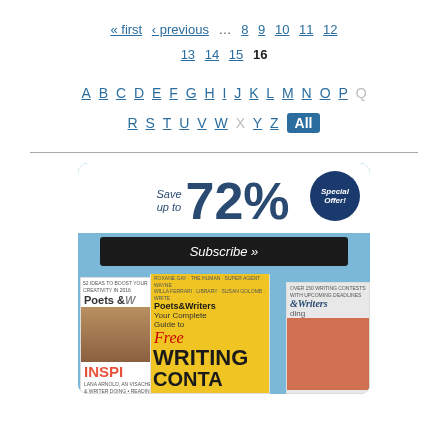« first ‹ previous … 8 9 10 11 12 13 14 15 16
A B C D E F G H I J K L M N O P Q R S T U V W X Y Z All
[Figure (infographic): Poets & Writers magazine subscription advertisement. Save up to 72% Special Offer! Subscribe » with magazine covers shown.]